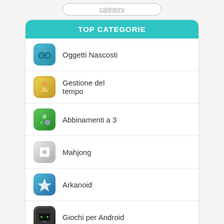[Figure (screenshot): Search bar at top of mobile app]
TOP CATEGORIE
Oggetti Nascosti
Gestione del tempo
Abbinamenti a 3
Mahjong
Arkanoid
Giochi per Android
Nuovi giochi
Renown
Xcraft
ANYll...